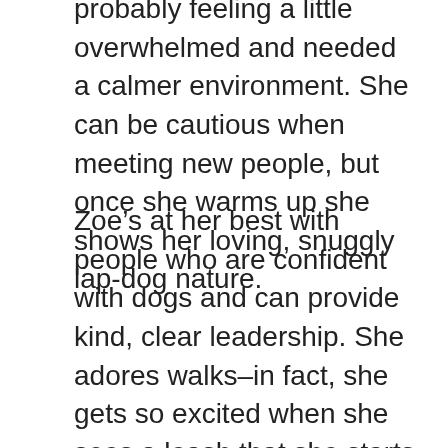probably feeling a little overwhelmed and needed a calmer environment. She can be cautious when meeting new people, but once she warms up she shows her loving, snuggly lap-dog nature.
Zoe’s at her best with people who are confident with dogs and can provide kind, clear leadership. She adores walks–in fact, she gets so excited when she sees a leash that she starts doing circles! She’s fairly well-behaved on leash and even knows how to “Sit” and “Shake.”  She can be a bit of a diva and doesn’t like to be physically restrained or rough-housed. Because of this, she may do best in an adult-only